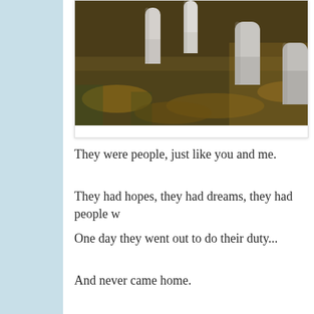[Figure (photo): Cemetery with white gravestones/markers standing on ground covered with fallen autumn leaves and grass, photographed in natural outdoor setting.]
They were people, just like you and me.
They had hopes, they had dreams, they had people w
One day they went out to do their duty...
And never came home.